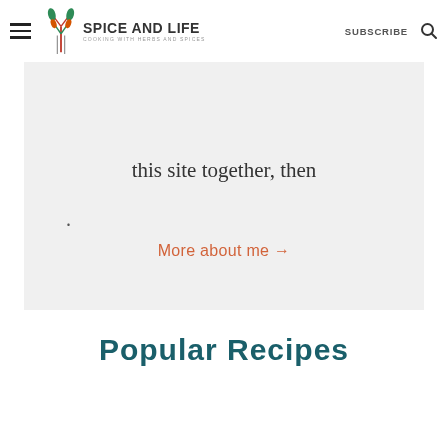SPICE AND LIFE — COOKING WITH HERBS AND SPICES | SUBSCRIBE
this site together, then
.
More about me →
Popular Recipes